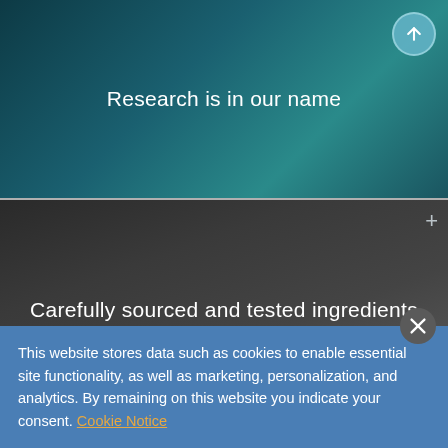[Figure (screenshot): Dark teal/blue panel with text 'Research is in our name' in white, with a circular scroll-up button in the top right corner]
[Figure (screenshot): Dark gray panel with text 'Carefully sourced and tested ingredients' in white, with a + button in the top right corner, showing a blurred hand/fingers in background]
[Figure (screenshot): Dark gray panel with text 'State-of-the-art manufacturing facilities' in white, with a + button in the top right corner, showing a dark object at the bottom]
This website stores data such as cookies to enable essential site functionality, as well as marketing, personalization, and analytics. By remaining on this website you indicate your consent. Cookie Notice